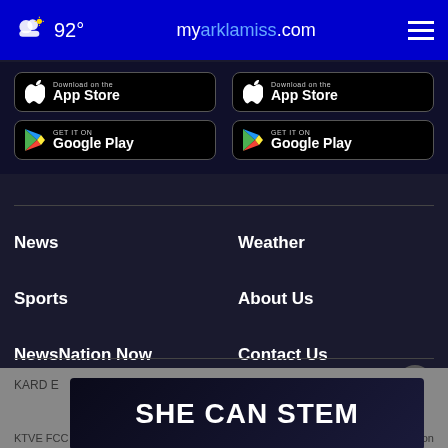92° myarklamiss.com
[Figure (screenshot): App Store download button (Apple)]
[Figure (screenshot): Google Play download button]
[Figure (screenshot): App Store download button (Apple) - right column]
[Figure (screenshot): Google Play download button - right column]
News
Weather
Sports
About Us
NewsNation Now
Contact Us
KARD E
[Figure (infographic): SHE CAN STEM advertisement banner]
KTVE FCC Public File
Nexstar CC Certification